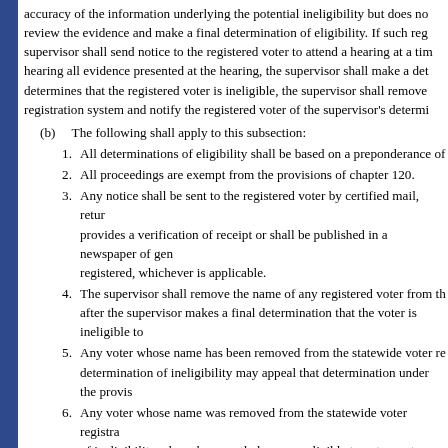accuracy of the information underlying the potential ineligibility but does not review the evidence and make a final determination of eligibility. If such reg supervisor shall send notice to the registered voter to attend a hearing at a tim hearing all evidence presented at the hearing, the supervisor shall make a det determines that the registered voter is ineligible, the supervisor shall remove registration system and notify the registered voter of the supervisor's determi
(b)    The following shall apply to this subsection:
1.    All determinations of eligibility shall be based on a preponderance of
2.    All proceedings are exempt from the provisions of chapter 120.
3.    Any notice shall be sent to the registered voter by certified mail, retur provides a verification of receipt or shall be published in a newspaper of gen registered, whichever is applicable.
4.    The supervisor shall remove the name of any registered voter from th after the supervisor makes a final determination that the voter is ineligible to
5.    Any voter whose name has been removed from the statewide voter re determination of ineligibility may appeal that determination under the provis
6.    Any voter whose name was removed from the statewide voter registra of ineligibility who subsequently becomes eligible to vote must reregister in the statewide voter registration system.
(8)    CERTIFICATION.—
(a)    No later than July 31 and January 31 of each year, the supervisor sha conducted pursuant to this section during the first 6 months and the second 6